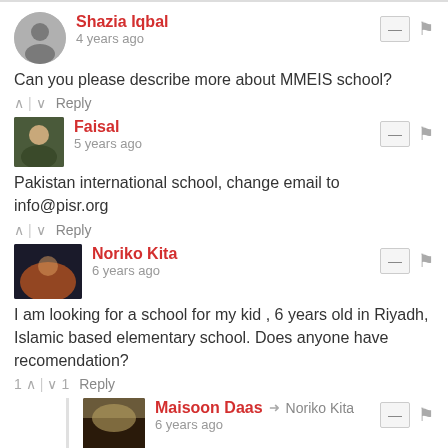Shazia Iqbal — 4 years ago
Can you please describe more about MMEIS school?
Faisal — 5 years ago
Pakistan international school, change email to info@pisr.org
Noriko Kita — 6 years ago
I am looking for a school for my kid , 6 years old in Riyadh, Islamic based elementary school. Does anyone have recomendation?
Maisoon Daas → Noriko Kita — 6 years ago
I'm teaching Alnoorania for the nonArab children as well